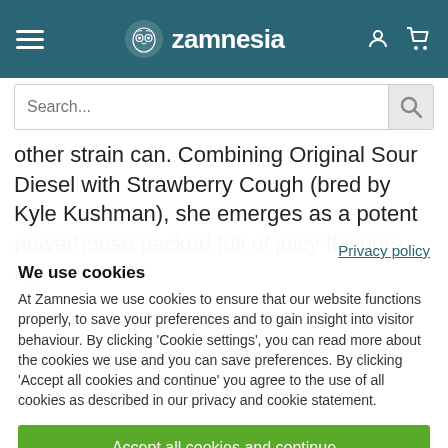[Figure (logo): Zamnesia website header with hamburger menu, Zamnesia logo (owl icon + text), user and cart icons on teal background]
Search...
other strain can. Combining Original Sour Diesel with Strawberry Cough (bred by Kyle Kushman), she emerges as a potent powerhouse packed full of juicy flavours. An
Privacy policy
We use cookies
At Zamnesia we use cookies to ensure that our website functions properly, to save your preferences and to gain insight into visitor behaviour. By clicking 'Cookie settings', you can read more about the cookies we use and you can save preferences. By clicking 'Accept all cookies and continue' you agree to the use of all cookies as described in our privacy and cookie statement.
Accept all cookies and continue
Cookie settings